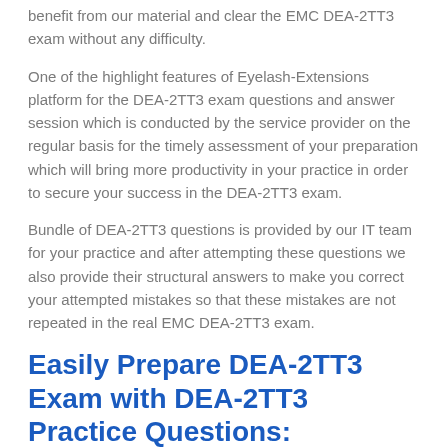benefit from our material and clear the EMC DEA-2TT3 exam without any difficulty.
One of the highlight features of Eyelash-Extensions platform for the DEA-2TT3 exam questions and answer session which is conducted by the service provider on the regular basis for the timely assessment of your preparation which will bring more productivity in your practice in order to secure your success in the DEA-2TT3 exam.
Bundle of DEA-2TT3 questions is provided by our IT team for your practice and after attempting these questions we also provide their structural answers to make you correct your attempted mistakes so that these mistakes are not repeated in the real EMC DEA-2TT3 exam.
Easily Prepare DEA-2TT3 Exam with DEA-2TT3 Practice Questions: